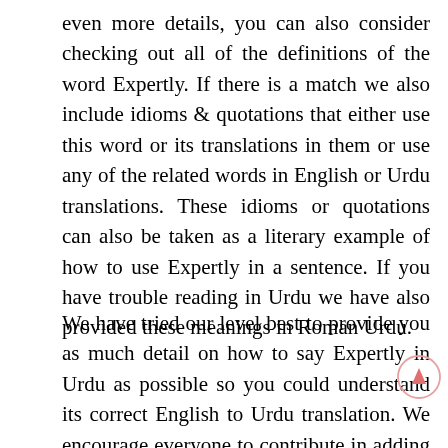even more details, you can also consider checking out all of the definitions of the word Expertly. If there is a match we also include idioms & quotations that either use this word or its translations in them or use any of the related words in English or Urdu translations. These idioms or quotations can also be taken as a literary example of how to use Expertly in a sentence. If you have trouble reading in Urdu we have also provided these meanings in Roman Urdu.
We have tried our level best to provide you as much detail on how to say Expertly in Urdu as possible so you could understand its correct English to Urdu translation. We encourage everyone to contribute in adding more meanings to MeaningIn Dictionary by adding English to Urdu translations, Urdu to Roman Urdu transliterations and Urdu to English translations and will be very much obliged to you.